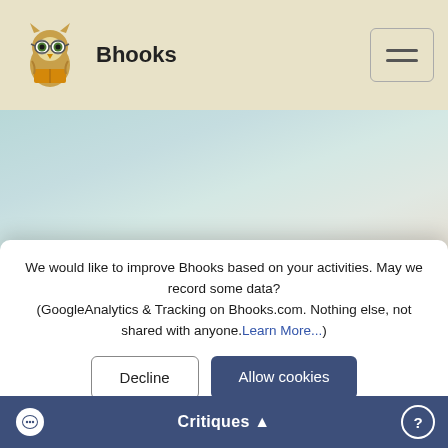[Figure (logo): Bhooks owl logo with book and glasses, next to the text 'Bhooks']
[Figure (illustration): Hero banner with soft pastel sky/cloud background, containing the title 'The Tale of Elluria']
The Tale of Elluria
We would like to improve Bhooks based on your activities. May we record some data?
(GoogleAnalytics & Tracking on Bhooks.com. Nothing else, not shared with anyone.Learn More...)
Decline
Allow cookies
Critiques ▲